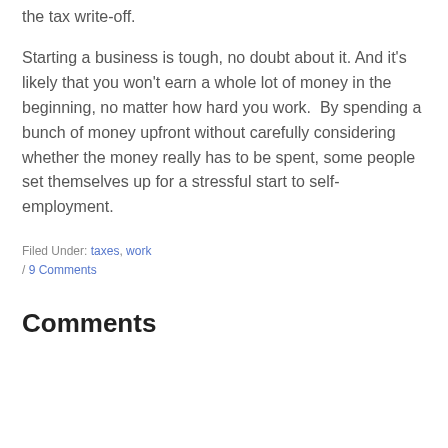the tax write-off.
Starting a business is tough, no doubt about it. And it's likely that you won't earn a whole lot of money in the beginning, no matter how hard you work.  By spending a bunch of money upfront without carefully considering whether the money really has to be spent, some people set themselves up for a stressful start to self-employment.
Filed Under: taxes, work / 9 Comments
Comments